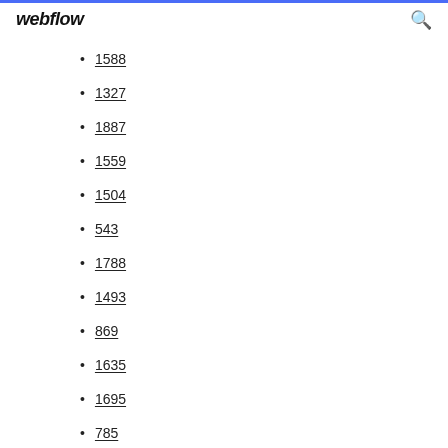webflow
1588
1327
1887
1559
1504
543
1788
1493
869
1635
1695
785